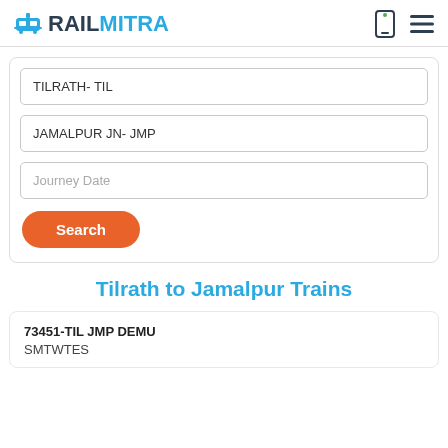RAILMITRA
TILRATH- TIL
JAMALPUR JN- JMP
Journey Date
Search
Tilrath to Jamalpur Trains
73451-TIL JMP DEMU
SMTWTES